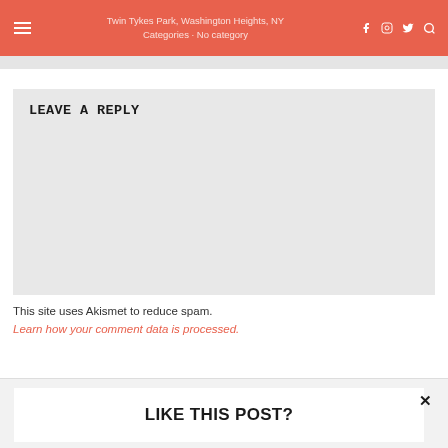Twin Tykes Park, Washington Heights, NY · Categories · No category
LEAVE A REPLY
This site uses Akismet to reduce spam. Learn how your comment data is processed.
LIKE THIS POST?